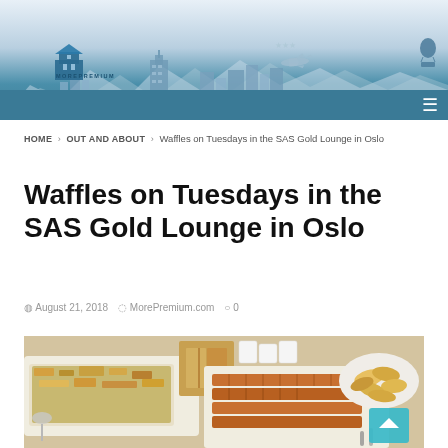[Figure (illustration): MorePremium website header banner with logo, cityscape/skyline illustration featuring buildings, mountains, airplane, hot air balloon. Teal/blue color scheme with hamburger menu icon.]
HOME > OUT AND ABOUT > Waffles on Tuesdays in the SAS Gold Lounge in Oslo
Waffles on Tuesdays in the SAS Gold Lounge in Oslo
August 21, 2018  MorePremium.com  0
[Figure (photo): Food photo showing airport lounge buffet items including waffles, chips/crisps in a bowl, and what appears to be a casserole dish, on a white table surface.]